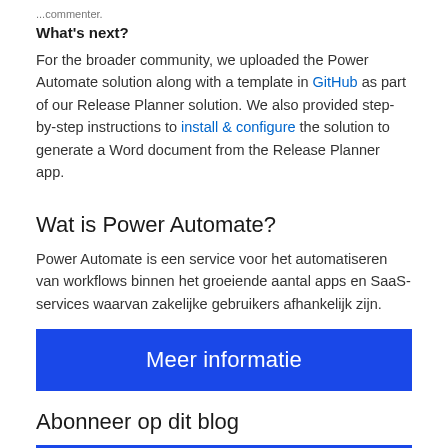...commenter.
What's next?
For the broader community, we uploaded the Power Automate solution along with a template in GitHub as part of our Release Planner solution. We also provided step-by-step instructions to install & configure the solution to generate a Word document from the Release Planner app.
Wat is Power Automate?
Power Automate is een service voor het automatiseren van workflows binnen het groeiende aantal apps en SaaS-services waarvan zakelijke gebruikers afhankelijk zijn.
Meer informatie
Abonneer op dit blog